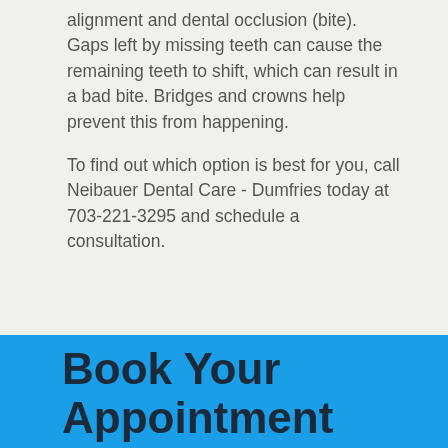alignment and dental occlusion (bite). Gaps left by missing teeth can cause the remaining teeth to shift, which can result in a bad bite. Bridges and crowns help prevent this from happening.
To find out which option is best for you, call Neibauer Dental Care - Dumfries today at 703-221-3295 and schedule a consultation.
Book Your Appointment